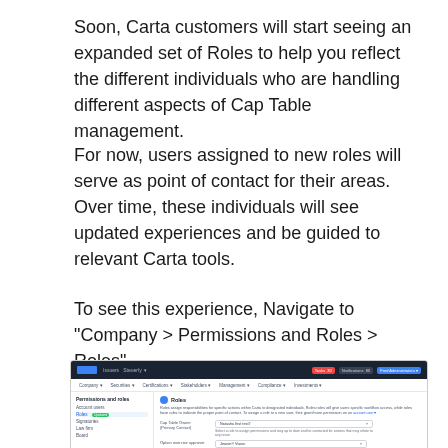Soon, Carta customers will start seeing an expanded set of Roles to help you reflect the different individuals who are handling different aspects of Cap Table management.
For now, users assigned to new roles will serve as point of contact for their areas. Over time, these individuals will see updated experiences and be guided to relevant Carta tools.
To see this experience, Navigate to "Company > Permissions and Roles > Roles"
[Figure (screenshot): Screenshot of Carta application showing the Permissions and Roles > Roles section with a dark top navigation bar, breadcrumb navigation, left sidebar with menu items including Roles (active/highlighted), and main content area showing Roles panel with Cap Table Owner and Option exercise approver fields with dropdown selectors.]